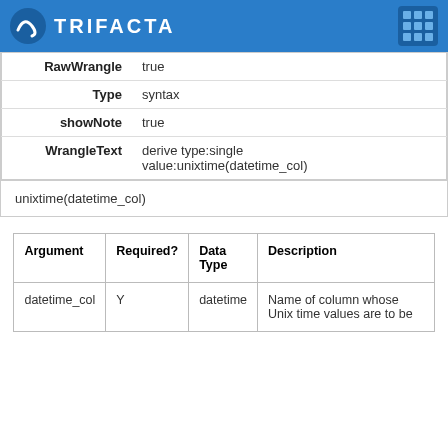TRIFACTA
| Property | Value |
| --- | --- |
| RawWrangle | true |
| Type | syntax |
| showNote | true |
| WrangleText | derive type:single value:unixtime(datetime_col) |
unixtime(datetime_col)
| Argument | Required? | Data Type | Description |
| --- | --- | --- | --- |
| datetime_col | Y | datetime | Name of column whose Unix time values are to be |